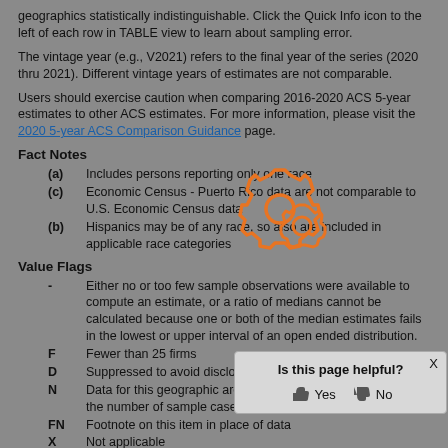geographics statistically indistinguishable. Click the Quick Info icon to the left of each row in TABLE view to learn about sampling error.
The vintage year (e.g., V2021) refers to the final year of the series (2020 thru 2021). Different vintage years of estimates are not comparable.
Users should exercise caution when comparing 2016-2020 ACS 5-year estimates to other ACS estimates. For more information, please visit the 2020 5-year ACS Comparison Guidance page.
Fact Notes
(a) Includes persons reporting only one race
(c) Economic Census - Puerto Rico data are not comparable to U.S. Economic Census data
(b) Hispanics may be of any race, so also are included in applicable race categories
Value Flags
- Either no or too few sample observations were available to compute an estimate, or a ratio of medians cannot be calculated because one or both of the median estimates falls in the lowest or upper interval of an open ended distribution.
F Fewer than 25 firms
D Suppressed to avoid disclosure of confidential information
N Data for this geographic area cannot be displayed because the number of sample cases is too small.
FN Footnote on this item in place of data
X Not applicable
S Suppressed; does not meet publ...
NA Not available
Z Value greater than zero but less than...
[Figure (illustration): Orange gear/settings icons overlaid on the page content as a watermark-like graphic]
Is this page helpful? Yes No